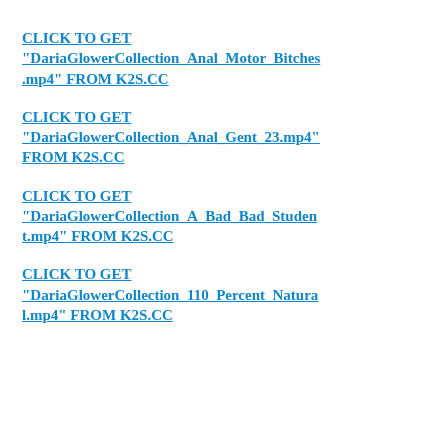CLICK TO GET "DariaGlowerCollection_Anal_Motor_Bitches.mp4" FROM K2S.CC
CLICK TO GET "DariaGlowerCollection_Anal_Gent_23.mp4" FROM K2S.CC
CLICK TO GET "DariaGlowerCollection_A_Bad_Bad_Student.mp4" FROM K2S.CC
CLICK TO GET "DariaGlowerCollection_110_Percent_Natural.mp4" FROM K2S.CC